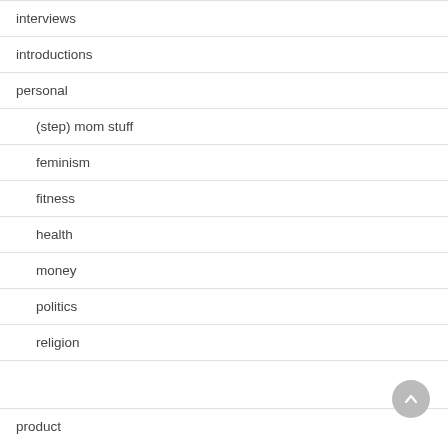interviews
introductions
personal
(step) mom stuff
feminism
fitness
health
money
politics
religion
product